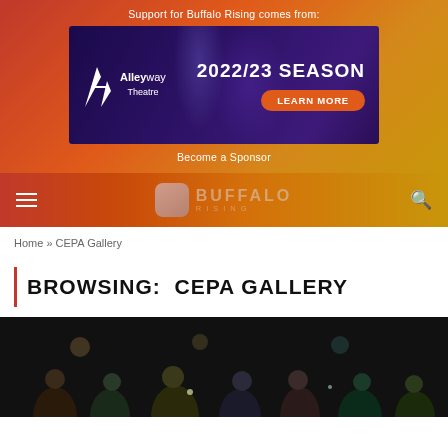Support for Buffalo Rising comes from:
[Figure (screenshot): Alleyway Theatre advertisement banner showing '2022/23 SEASON' with a 'LEARN MORE' button on a dark purple background.]
Become a Sponsor
[Figure (logo): Buffalo Rising website navigation bar with hamburger menu, Buffalo Rising logo, and search icon on an orange-red gradient background.]
Home » CEPA Gallery
BROWSING:  CEPA GALLERY
[Figure (photo): Dark photograph showing a group of people at what appears to be a social or performance event.]